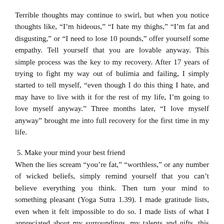Terrible thoughts may continue to swirl, but when you notice thoughts like, “I’m hideous,” “I hate my thighs,” “I’m fat and disgusting,” or “I need to lose 10 pounds,” offer yourself some empathy. Tell yourself that you are lovable anyway. This simple process was the key to my recovery. After 17 years of trying to fight my way out of bulimia and failing, I simply started to tell myself, “even though I do this thing I hate, and may have to live with it for the rest of my life, I’m going to love myself anyway.” Three months later, “I love myself anyway” brought me into full recovery for the first time in my life.
5. Make your mind your best friend
When the lies scream “you’re fat,” “worthless,” or any number of wicked beliefs, simply remind yourself that you can’t believe everything you think. Then turn your mind to something pleasant (Yoga Sutra 1.39). I made gratitude lists, even when it felt impossible to do so. I made lists of what I appreciated about my surroundings, my talents and gifts, this world, and, yes, even my body. This practice helped me